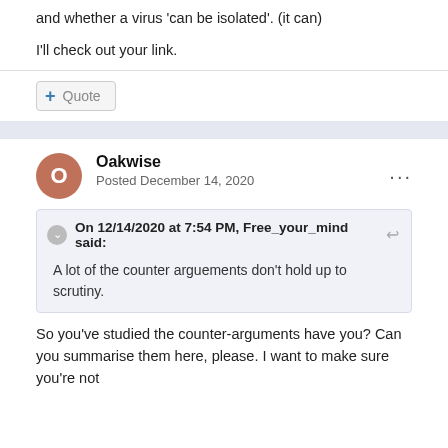and whether a virus 'can be isolated'. (it can)
I'll check out your link.
Quote
Oakwise
Posted December 14, 2020
On 12/14/2020 at 7:54 PM, Free_your_mind said:
A lot of the counter arguements don't hold up to scrutiny.
So you've studied the counter-arguments have you? Can you summarise them here, please. I want to make sure you're not